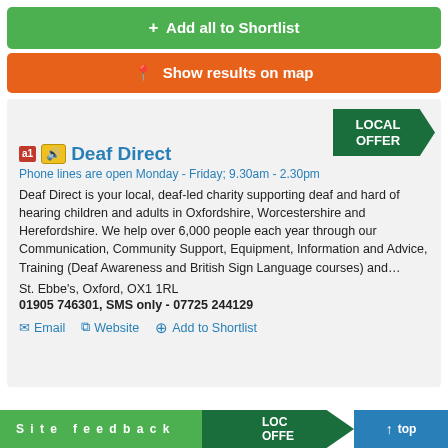+ Add all to Shortlist
Show results on map
[Figure (infographic): LOCAL OFFER badge/arrow in dark green]
Deaf Direct
Phone lines are open Monday - Friday; 9.30am - 2.30pm
Deaf Direct is your local, deaf-led charity supporting deaf and hard of hearing children and adults in Oxfordshire, Worcestershire and Herefordshire. We help over 6,000 people each year through our Communication, Community Support, Equipment, Information and Advice, Training (Deaf Awareness and British Sign Language courses) and…
St. Ebbe's, Oxford, OX1 1RL
01905 746301, SMS only - 07725 244129
Email   Website   Add to Shortlist
Site feedback   LOCAL OFFER   top